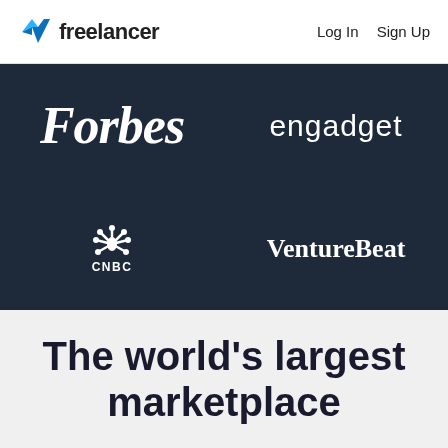Freelancer  Log In  Sign Up
[Figure (logo): Logos of Forbes, engadget, CNBC, and VentureBeat on dark navy background]
The world's largest marketplace